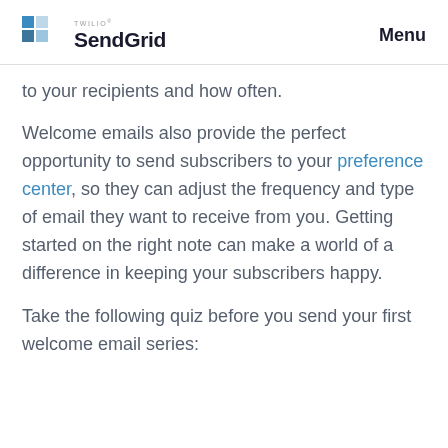Twilio SendGrid | Menu
to your recipients and how often.
Welcome emails also provide the perfect opportunity to send subscribers to your preference center, so they can adjust the frequency and type of email they want to receive from you. Getting started on the right note can make a world of a difference in keeping your subscribers happy.
Take the following quiz before you send your first welcome email series: